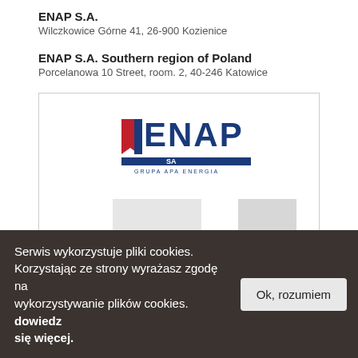ENAP S.A.
Wilczkowice Górne 41, 26-900 Kozienice
ENAP S.A. Southern region of Poland
Porcelanowa 10 Street, room. 2, 40-246 Katowice
[Figure (logo): ENAP S.A. logo with red square element and blue text, with blue bar and small text underneath reading GRUPA APA ENERGIA]
Serwis wykorzystuje pliki cookies. Korzystając ze strony wyrażasz zgodę na wykorzystywanie plików cookies. dowiedz się więcej.